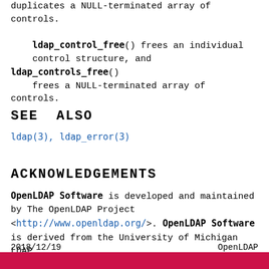duplicates a NULL-terminated array of controls. ldap_control_free() frees an individual control structure, and ldap_controls_free() frees a NULL-terminated array of controls.
SEE ALSO
ldap(3), ldap_error(3)
ACKNOWLEDGEMENTS
OpenLDAP Software is developed and maintained by The OpenLDAP Project <http://www.openldap.org/>. OpenLDAP Software is derived from the University of Michigan LDAP 3.3 Release.
2018/12/19    OpenLDAP